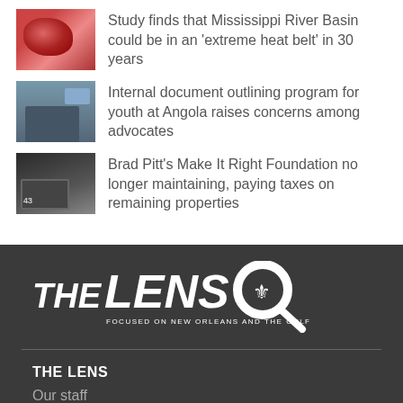Study finds that Mississippi River Basin could be in an ‘extreme heat belt’ in 30 years
Internal document outlining program for youth at Angola raises concerns among advocates
Brad Pitt’s Make It Right Foundation no longer maintaining, paying taxes on remaining properties
[Figure (logo): The Lens logo — bold white text 'THE LENS' with a magnifying glass icon and fleur-de-lis, tagline 'FOCUSED ON NEW ORLEANS AND THE GULF COAST']
THE LENS
Our staff